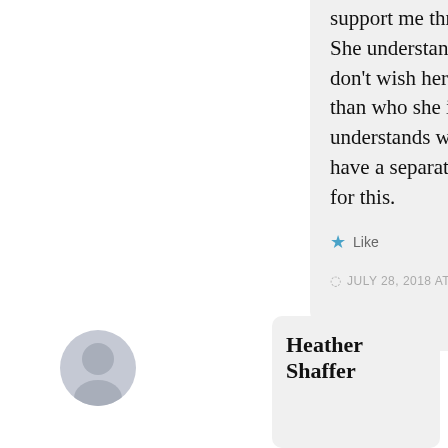support me through it. She understands that I don't wish her to be less than who she is. She understands we both have a separate process for this.
★ Like
JULY 28, 2018 AT 8:59 AM
↳ REPLY
Heather Shaffer